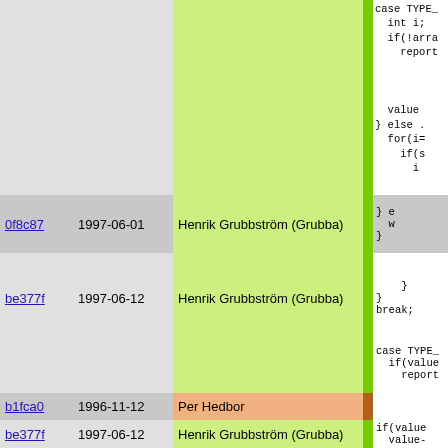| hash | date | author | code |
| --- | --- | --- | --- |
|  |  |  | case TYPE_
    int i;
    if(!arra
        report


        value
    } else .
        for(i=
            if(s
                i |
| 0f8c87 | 1997-06-01 | Henrik Grubbström (Grubba) | } e
    w
} |
| be377f | 1997-06-12 | Henrik Grubbström (Grubba) |     }
}
break; |
|  |  |  | case TYPE_
    if(value
        report |
| b1fca0 | 1996-11-12 | Per Hedbor |  |
| be377f | 1997-06-12 | Henrik Grubbström (Grubba) | if(value
    value- |